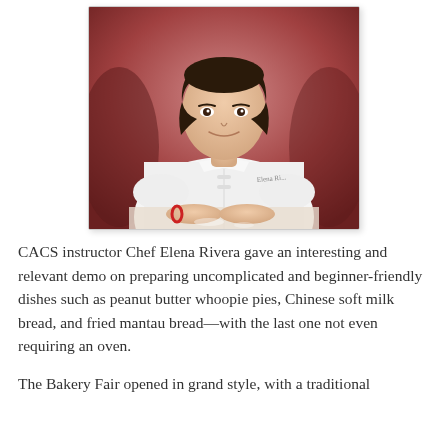[Figure (photo): Portrait photo of Chef Elena Rivera, a woman with short dark hair wearing a white chef's coat, seated with hands clasped on a surface dusted with flour, against a reddish-toned background.]
CACS instructor Chef Elena Rivera gave an interesting and relevant demo on preparing uncomplicated and beginner-friendly dishes such as peanut butter whoopie pies, Chinese soft milk bread, and fried mantau bread—with the last one not even requiring an oven.
The Bakery Fair opened in grand style, with a traditional